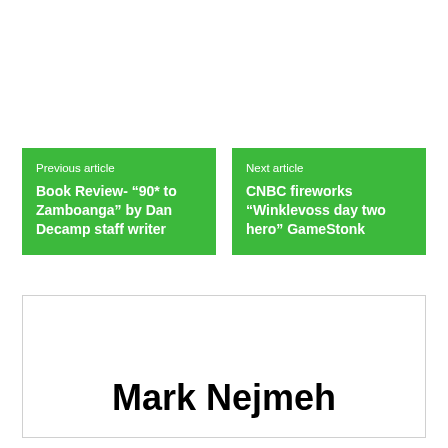Previous article
Book Review- “90* to Zamboanga” by Dan Decamp staff writer
Next article
CNBC fireworks “Winklevoss day two hero” GameStonk
Mark Nejmeh